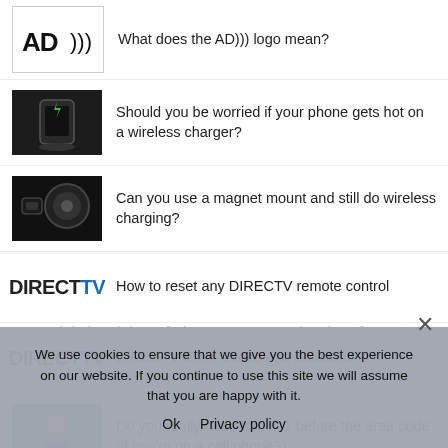What does the AD))) logo mean?
Should you be worried if your phone gets hot on a wireless charger?
Can you use a magnet mount and still do wireless charging?
How to reset any DIRECTV remote control
DIRECTV Error Codes and Solutions
Do you really need to dial 1 before the area code (if you're on a cell phone?)
Why do phones have the * and # buttons? (And why do they call the # button "pound?")
We use cookies to ensure that we give you the best experience on our website. If you continue to use this site we will assume that you are happy with it.
Ok   Privacy policy